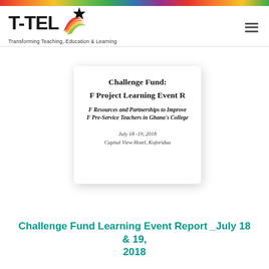[Figure (logo): T-TEL logo with flame graphic and star, tagline: Transforming Teaching, Education & Learning]
[Figure (screenshot): Document cover preview: Challenge Fund: F Project Learning Event R (cut off). Subtitle: Resources and Partnerships to Improve / Pre-Service Teachers in Ghana's College. Date: July 18-19, 2018. Venue: Capital View Hotel, Koforidua]
Challenge Fund Learning Event Report _July 18 & 19, 2018